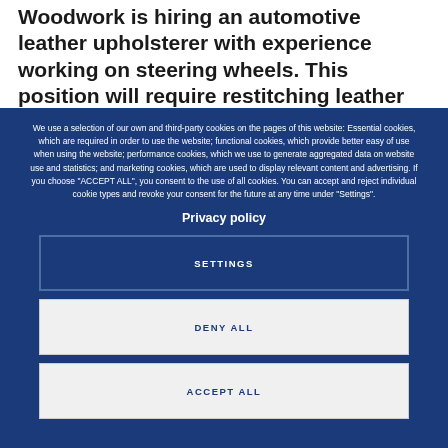Woodwork is hiring an automotive leather upholsterer with experience working on steering wheels. This position will require restitching leather on customized steering wheels, changing the stitching and re-leathering an entire wheel and/or performing other
We use a selection of our own and third-party cookies on the pages of this website: Essential cookies, which are required in order to use the website; functional cookies, which provide better easy of use when using the website; performance cookies, which we use to generate aggregated data on website use and statistics; and marketing cookies, which are used to display relevant content and advertising. If you choose "ACCEPT ALL", you consent to the use of all cookies. You can accept and reject individual cookie types and revoke your consent for the future at any time under "Settings".
Privacy policy
SETTINGS
DENY ALL
ACCEPT ALL